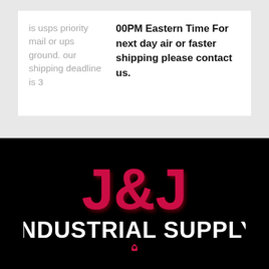is usps priority mail or ups ground. our shipping deadline is 3
00PM Eastern Time For next day air or faster shipping please contact us.
[Figure (logo): J&J Industrial Supply logo on black background with red 3D stylized J&J lettering and white INDUSTRIAL SUPPLY text below, with a red location pin at the bottom]